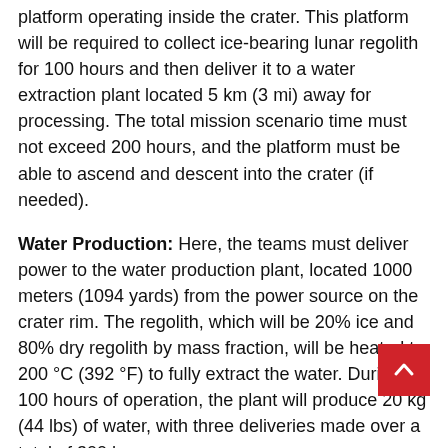platform operating inside the crater. This platform will be required to collect ice-bearing lunar regolith for 100 hours and then deliver it to a water extraction plant located 5 km (3 mi) away for processing. The total mission scenario time must not exceed 200 hours, and the platform must be able to ascend and descent into the crater (if needed).
Water Production: Here, the teams must deliver power to the water production plant, located 1000 meters (1094 yards) from the power source on the crater rim. The regolith, which will be 20% ice and 80% dry regolith by mass fraction, will be heated to 200 °C (392 °F) to fully extract the water. During 100 hours of operation, the plant will produce 20 kg (44 lbs) of water, with three deliveries made over a total of 300 hours.
Oxygen Production: Teams must provide